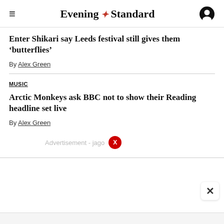Evening Standard
Enter Shikari say Leeds festival still gives them ‘butterflies’
By Alex Green
MUSIC
Arctic Monkeys ask BBC not to show their Reading headline set live
By Alex Green
Advertisement - jago